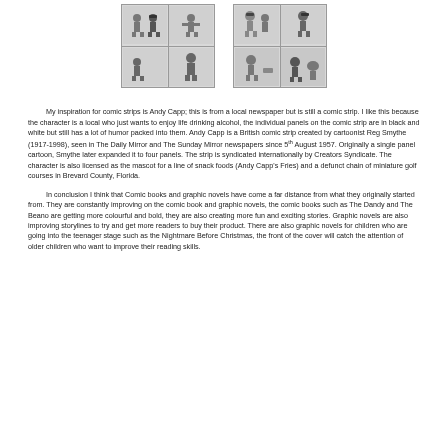[Figure (photo): Two comic strip images side by side, showing Andy Capp comic panels in black and white, each with a 2x2 grid of panels]
My inspiration for comic strips is Andy Capp; this is from a local newspaper but is still a comic strip. I like this because the character is a local who just wants to enjoy life drinking alcohol, the individual panels on the comic strip are in black and white but still has a lot of humor packed into them.  Andy Capp is a British comic strip created by cartoonist Reg Smythe (1917-1998), seen in The Daily Mirror and The Sunday Mirror newspapers since 5th August 1957. Originally a single panel cartoon, Smythe later expanded it to four panels. The strip is syndicated internationally by Creators Syndicate. The character is also licensed as the mascot for a line of snack foods (Andy Capp's Fries) and a defunct chain of miniature golf courses in Brevard County, Florida.
In conclusion I think that Comic books and graphic novels have come a far distance from what they originally started from. They are constantly improving on the comic book and graphic novels, the comic books such as The Dandy and The Beano are getting more colourful and bold, they are also creating more fun and exciting stories. Graphic novels are also improving storylines to try and get more readers to buy their product. There are also graphic novels for children who are going into the teenager stage such as the Nightmare Before Christmas, the front of the cover will catch the attention of older children who want to improve their reading skills.